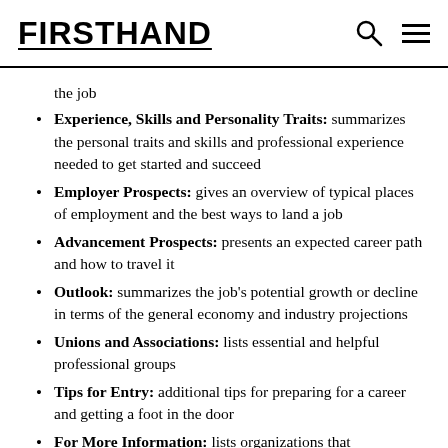FIRSTHAND
the job
Experience, Skills and Personality Traits: summarizes the personal traits and skills and professional experience needed to get started and succeed
Employer Prospects: gives an overview of typical places of employment and the best ways to land a job
Advancement Prospects: presents an expected career path and how to travel it
Outlook: summarizes the job's potential growth or decline in terms of the general economy and industry projections
Unions and Associations: lists essential and helpful professional groups
Tips for Entry: additional tips for preparing for a career and getting a foot in the door
For More Information: lists organizations that